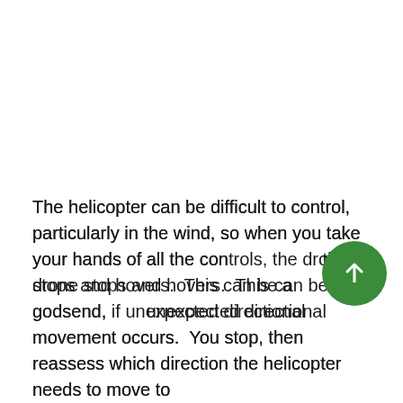The helicopter can be difficult to control, particularly in the wind, so when you take your hands of all the controls, the drone stops and hovers.  This can be a godsend, if unexpected directional movement occurs.  You stop, then reassess which direction the helicopter needs to move to